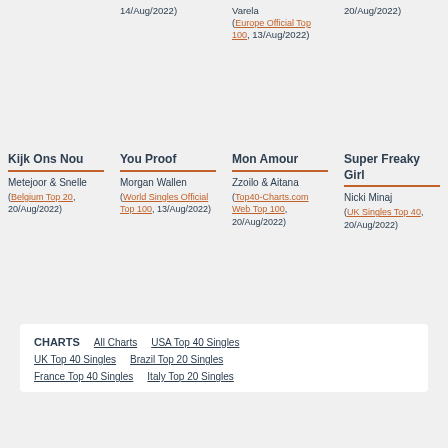14/Aug/2022)
(Europe Official Top 100, 13/Aug/2022)
Kijk Ons Nou
Metejoor & Snelle
(Belgium Top 20, 20/Aug/2022)
You Proof
Morgan Wallen
(World Singles Official Top 100, 13/Aug/2022)
Mon Amour
Zzoilo & Aitana
(Top40-Charts.com Web Top 100, 20/Aug/2022)
Super Freaky Girl
Nicki Minaj
(UK Singles Top 40, 20/Aug/2022)
CHARTS  All Charts  USA Top 40 Singles  UK Top 40 Singles  Brazil Top 20 Singles  France Top 40 Singles  Italy Top 20 Singles